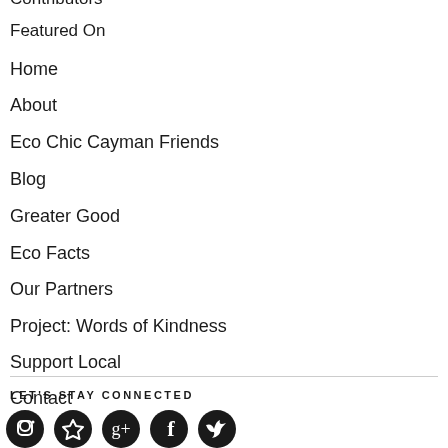Contributors
Featured On
Home
About
Eco Chic Cayman Friends
Blog
Greater Good
Eco Facts
Our Partners
Project: Words of Kindness
Support Local
Contact
LET'S STAY CONNECTED
[Figure (illustration): Social media icons row (Instagram, Pinterest, Google+, Facebook, Twitter or similar)]